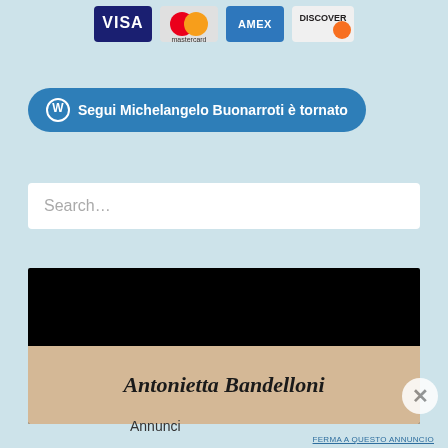[Figure (other): Payment card logos: VISA, Mastercard, AMEX, Discover]
Segui Michelangelo Buonarroti è tornato
Search…
[Figure (illustration): Book cover with dark background and parchment-colored band showing italic text 'Antonietta Bandelloni']
Annunci
FERMA A QUESTO ANNUNCIO